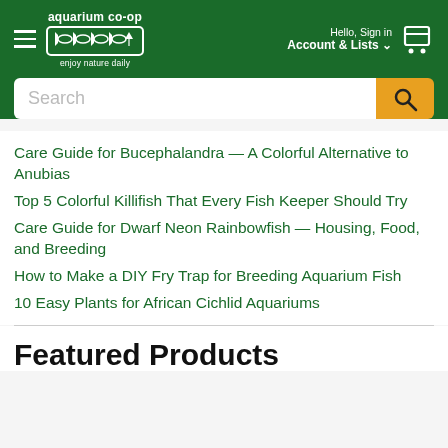aquarium co-op — enjoy nature daily — Hello, Sign in — Account & Lists
Care Guide for Bucephalandra — A Colorful Alternative to Anubias
Top 5 Colorful Killifish That Every Fish Keeper Should Try
Care Guide for Dwarf Neon Rainbowfish — Housing, Food, and Breeding
How to Make a DIY Fry Trap for Breeding Aquarium Fish
10 Easy Plants for African Cichlid Aquariums
Featured Products